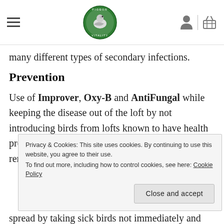Pigeon Vitality — navigation header with logo
many different types of secondary infections.
Prevention
Use of Improver, Oxy-B and AntiFungal while keeping the disease out of the loft by not introducing birds from lofts known to have health problems. Stray youngsters should be immediately removed if they do not look well,
spread by taking sick birds not immediately and
Privacy & Cookies: This site uses cookies. By continuing to use this website, you agree to their use. To find out more, including how to control cookies, see here: Cookie Policy
Close and accept